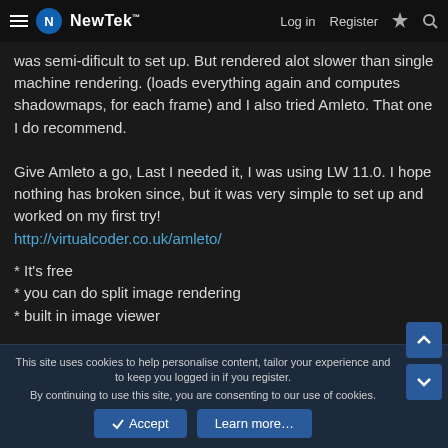NewTek  Log in  Register
was semi-dificult to set up. But rendered alot slower than single machine rendering. (loads everything again and computes shadowmaps, for each frame) and I also tried Amleto. That one I do recommend.

Give Amleto a go, Last I needed it, I was using LW 11.0. I hope nothing has broken since, but it was very simple to set up and worked on my first try!
http://virtualcoder.co.uk/amleto/
* It's free
* you can do split image rendering
* built in image viewer
This site uses cookies to help personalise content, tailor your experience and to keep you logged in if you register.
By continuing to use this site, you are consenting to our use of cookies.